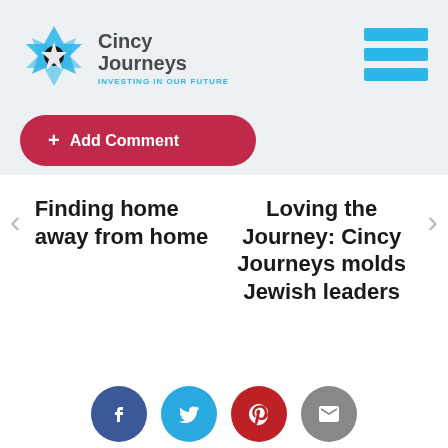Cincy Journeys — INVESTING IN OUR FUTURE
+ Add Comment
Finding home away from home
Loving the Journey: Cincy Journeys molds Jewish leaders
[Figure (other): Social media sharing icons: Facebook, Twitter, Pinterest, Email]